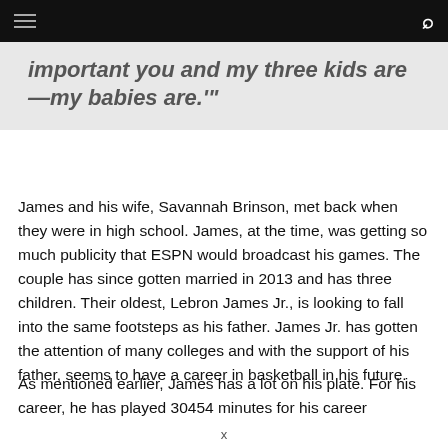important you and my three kids are—my babies are.'"
James and his wife, Savannah Brinson, met back when they were in high school. James, at the time, was getting so much publicity that ESPN would broadcast his games. The couple has since gotten married in 2013 and has three children. Their oldest, Lebron James Jr., is looking to fall into the same footsteps as his father. James Jr. has gotten the attention of many colleges and with the support of his father, seems to have a career in basketball in his future.
As mentioned earlier, James has a lot on his plate. For his career, he has played 30454 minutes for his career
x